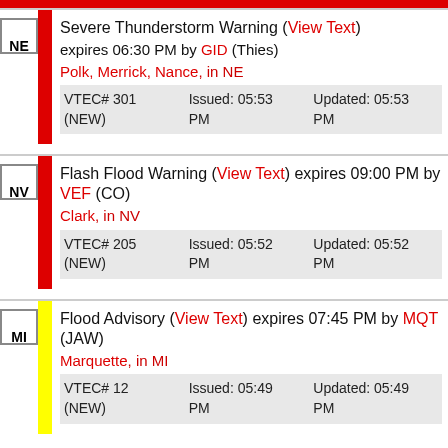NE | Severe Thunderstorm Warning (View Text) expires 06:30 PM by GID (Thies) | Polk, Merrick, Nance, in NE | VTEC# 301 (NEW) | Issued: 05:53 PM | Updated: 05:53 PM
NV | Flash Flood Warning (View Text) expires 09:00 PM by VEF (CO) | Clark, in NV | VTEC# 205 (NEW) | Issued: 05:52 PM | Updated: 05:52 PM
MI | Flood Advisory (View Text) expires 07:45 PM by MQT (JAW) | Marquette, in MI | VTEC# 12 (NEW) | Issued: 05:49 PM | Updated: 05:49 PM